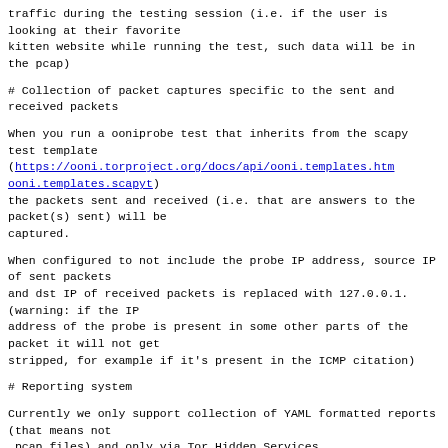traffic during the testing session (i.e. if the user is looking at their favorite
kitten website while running the test, such data will be in the pcap)
# Collection of packet captures specific to the sent and received packets
When you run a ooniprobe test that inherits from the scapy test template
(https://ooni.torproject.org/docs/api/ooni.templates.html#ooni.templates.scapyt)
the packets sent and received (i.e. that are answers to the packet(s) sent) will be
captured.
When configured to not include the probe IP address, source IP of sent packets
and dst IP of received packets is replaced with 127.0.0.1. (warning: if the IP
address of the probe is present in some other parts of the packet it will not get
stripped, for example if it's present in the ICMP citation)
# Reporting system
Currently we only support collection of YAML formatted reports (that means not
.pcap files) and only via Tor Hidden Services.